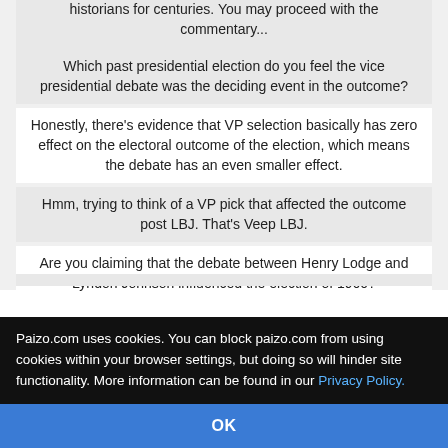historians for centuries. You may proceed with the commentary...
Which past presidential election do you feel the vice presidential debate was the deciding event in the outcome?
Honestly, there's evidence that VP selection basically has zero effect on the electoral outcome of the election, which means the debate has an even smaller effect.
Hmm, trying to think of a VP pick that affected the outcome post LBJ. That's Veep LBJ.
Are you claiming that the debate between Henry Lodge and Lyndon Johnson influenced the election of 1960?
No, but I am saying that having LBJ on the ticket influenced the election.
Paizo.com uses cookies. You can block paizo.com from using cookies within your browser settings, but doing so will hinder site functionality. More information can be found in our Privacy Policy.
OK